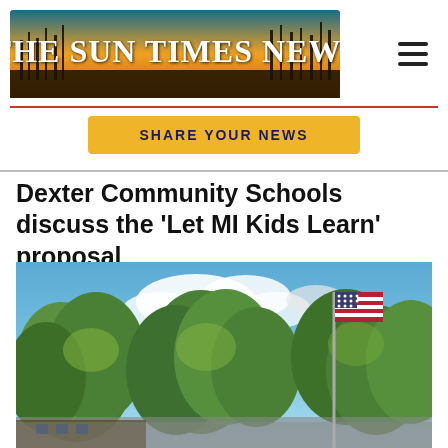The Sun Times News
Dexter Community Schools discuss the 'Let MI Kids Learn' proposal
[Figure (photo): Outdoor photo showing green trees against a blue sky with white clouds, and an American flag on a flagpole in front of what appears to be a school building.]